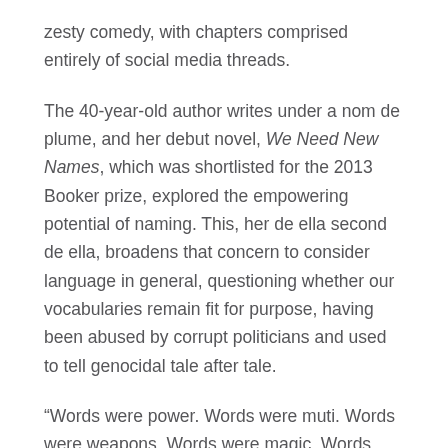zesty comedy, with chapters comprised entirely of social media threads.
The 40-year-old author writes under a nom de plume, and her debut novel, We Need New Names, which was shortlisted for the 2013 Booker prize, explored the empowering potential of naming. This, her de ella second de ella, broadens that concern to consider language in general, questioning whether our vocabularies remain fit for purpose, having been abused by corrupt politicians and used to tell genocidal tale after tale.
“Words were power. Words were muti. Words were weapons. Words were magic. Words were church. Words were wealth. Words were life,” gloats Tuvy. He’s so smitten with the latest meaningless pairing in his arsenal – “new dispensation” – that it becomes the name of his pet parrot from him.
Meanwhile, when a goat named Simiso tries to recount the trauma